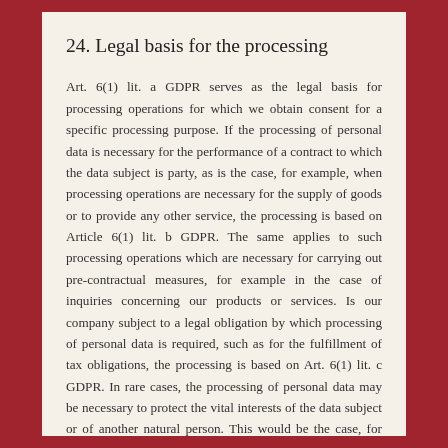24. Legal basis for the processing
Art. 6(1) lit. a GDPR serves as the legal basis for processing operations for which we obtain consent for a specific processing purpose. If the processing of personal data is necessary for the performance of a contract to which the data subject is party, as is the case, for example, when processing operations are necessary for the supply of goods or to provide any other service, the processing is based on Article 6(1) lit. b GDPR. The same applies to such processing operations which are necessary for carrying out pre-contractual measures, for example in the case of inquiries concerning our products or services. Is our company subject to a legal obligation by which processing of personal data is required, such as for the fulfillment of tax obligations, the processing is based on Art. 6(1) lit. c GDPR. In rare cases, the processing of personal data may be necessary to protect the vital interests of the data subject or of another natural person. This would be the case, for example, if a visitor were injured in our company and his name, age, health insurance data or other vital information would have to be passed on to a doctor, hospital or other third party. Then